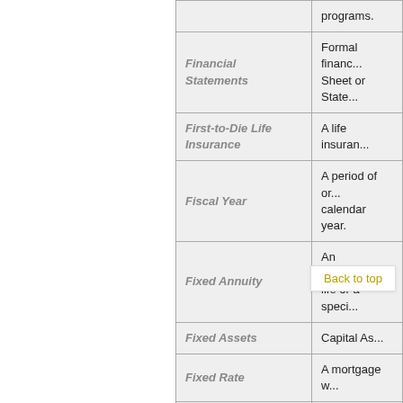| Term | Definition |
| --- | --- |
|  | programs. |
| Financial Statements | Formal financ... Sheet or State... |
| First-to-Die Life Insurance | A life insuran... |
| Fiscal Year | A period of or... calendar year. |
| Fixed Annuity | An investmen... life or a speci... |
| Fixed Assets | Capital As... |
| Fixed Rate | A mortgage w... |
| Fixed-Rate Mortgage | A mortgage w... |
|  |  |
Back to top